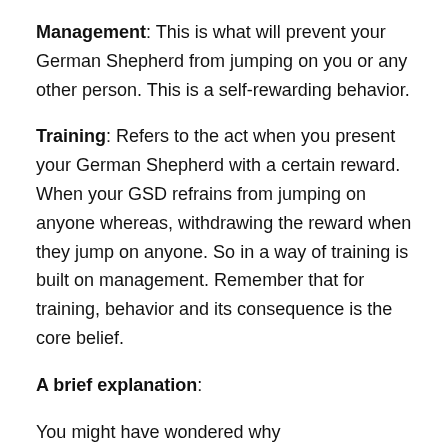Management: This is what will prevent your German Shepherd from jumping on you or any other person. This is a self-rewarding behavior.
Training: Refers to the act when you present your German Shepherd with a certain reward. When your GSD refrains from jumping on anyone whereas, withdrawing the reward when they jump on anyone. So in a way of training is built on management. Remember that for training, behavior and its consequence is the core belief.
A brief explanation:
You might have wondered why German Shepherd gets aggressive when they encounter an unfamiliar person or other dogs.
You'd wish to